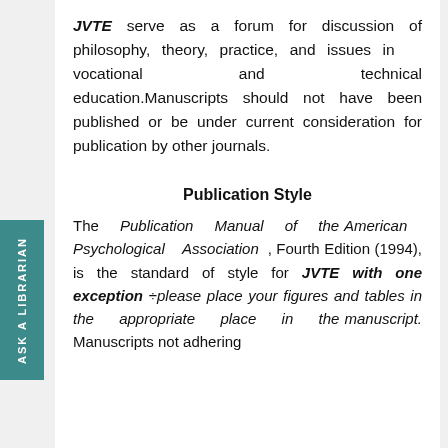JVTE serve as a forum for discussion of philosophy, theory, practice, and issues in vocational and technical education.Manuscripts should not have been published or be under current consideration for publication by other journals.
Publication Style
The Publication Manual of the American Psychological Association , Fourth Edition (1994), is the standard of style for JVTE with one exception ÷please place your figures and tables in the appropriate place in the manuscript. Manuscripts not adhering